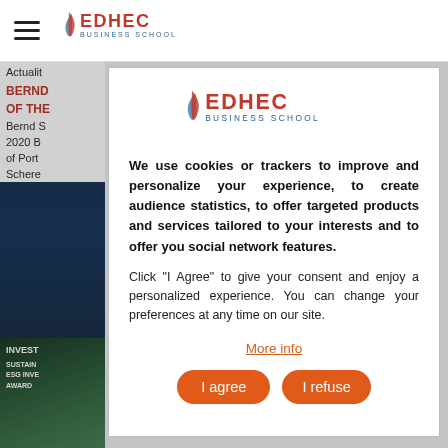[Figure (logo): EDHEC Business School logo in top navigation header]
Actualit
BERND
OF THE
Bernd S
2020 B
of Port
Schere
APER
the
Journal
Bernd
[Figure (logo): EDHEC Business School logo inside cookie consent modal]
We use cookies or trackers to improve and personalize your experience, to create audience statistics, to offer targeted products and services tailored to your interests and to offer you social network features.
Click "I Agree" to give your consent and enjoy a personalized experience. You can change your preferences at any time on our site.
More info
I agree
I refuse
[Figure (photo): Dark green background with ESG INVEST SUSTAIN AWARD text, book or publication cover image]